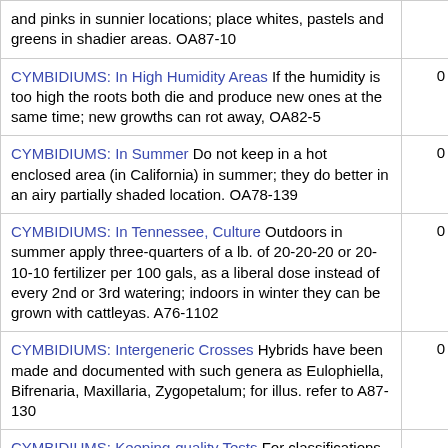| Entry | Count |
| --- | --- |
| and pinks in sunnier locations; place whites, pastels and greens in shadier areas. OA87-10 |  |
| CYMBIDIUMS: In High Humidity Areas If the humidity is too high the roots both die and produce new ones at the same time; new growths can rot away, OA82-5 | 0 |
| CYMBIDIUMS: In Summer Do not keep in a hot enclosed area (in California) in summer; they do better in an airy partially shaded location. OA78-139 | 0 |
| CYMBIDIUMS: In Tennessee, Culture Outdoors in summer apply three-quarters of a lb. of 20-20-20 or 20-10-10 fertilizer per 100 gals, as a liberal dose instead of every 2nd or 3rd watering; indoors in winter they can be grown with cattleyas. A76-1102 | 0 |
| CYMBIDIUMS: Intergeneric Crosses Hybrids have been made and documented with such genera as Eulophiella, Bifrenaria, Maxillaria, Zygopetalum; for illus. refer to A87-130 | 0 |
| CYMBIDIUMS: Keeping-quality Tests For classifications of keeping-quality of four groups of |  |